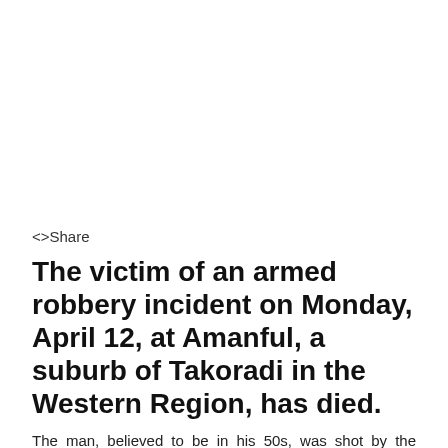<>Share
The victim of an armed robbery incident on Monday, April 12, at Amanful, a suburb of Takoradi in the Western Region, has died.
The man, believed to be in his 50s, was shot by the armed robbers who subsequently bolted with an undisclosed amount of money.
The deceased was in the company of his wife when the incident occurred.